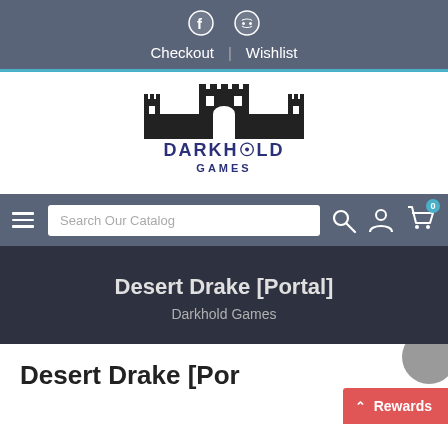Checkout | Wishlist
[Figure (logo): Darkhold Games logo — castle silhouette above stylized text reading DARKHOLD GAMES]
[Figure (screenshot): Navigation bar with hamburger menu, Search Our Catalog input field, search icon, account icon, and cart icon with badge showing 0]
Desert Drake [Portal]
Darkhold Games
Desert Drake [Por